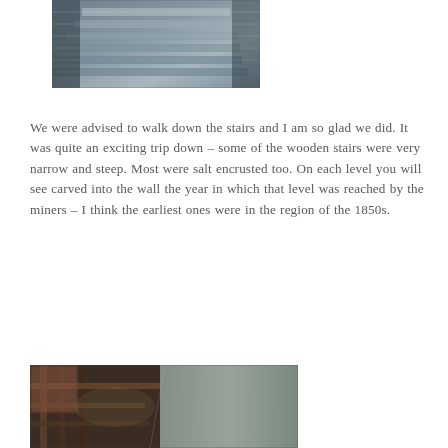[Figure (photo): Photograph of narrow wooden stairs descending through a salt mine, salt encrusted on steps and walls, top portion view]
We were advised to walk down the stairs and I am so glad we did. It was quite an exciting trip down – some of the wooden stairs were very narrow and steep. Most were salt encrusted too. On each level you will see carved into the wall the year in which that level was reached by the miners – I think the earliest ones were in the region of the 1850s.
[Figure (photo): Photograph of wooden mine structure or scaffolding inside a salt mine, with textured salt walls visible in background]